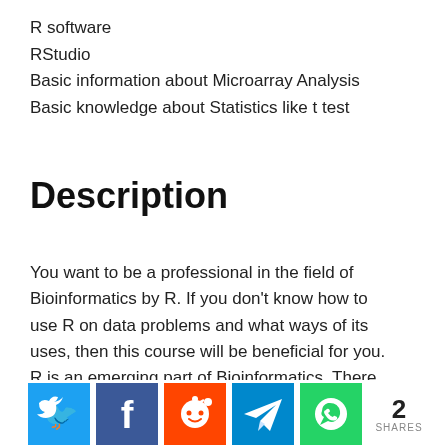R software
RStudio
Basic information about Microarray Analysis
Basic knowledge about Statistics like t test
Description
You want to be a professional in the field of Bioinformatics by R. If you don't know how to use R on data problems and what ways of its uses, then this course will be beneficial for you. R is an emerging part of Bioinformatics. There are many sources to learn R and R have a sharp learning curve and often